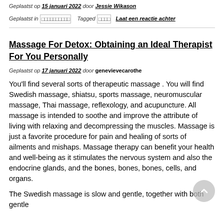Geplaatst op 15 januari 2022 door Jessie Wikason
Geplaatst in [categories] Tagged [tags] Laat een reactie achter
Massage For Detox: Obtaining an Ideal Therapist For You Personally
Geplaatst op 17 januari 2022 door genevievecarothe
You'll find several sorts of therapeutic massage . You will find Swedish massage, shiatsu, sports massage, neuromuscular massage, Thai massage, reflexology, and acupuncture. All massage is intended to soothe and improve the attribute of living with relaxing and decompressing the muscles. Massage is just a favorite procedure for pain and healing of sorts of ailments and mishaps. Massage therapy can benefit your health and well-being as it stimulates the nervous system and also the endocrine glands, and the bones, bones, bones, cells, and organs.
The Swedish massage is slow and gentle, together with both gentle